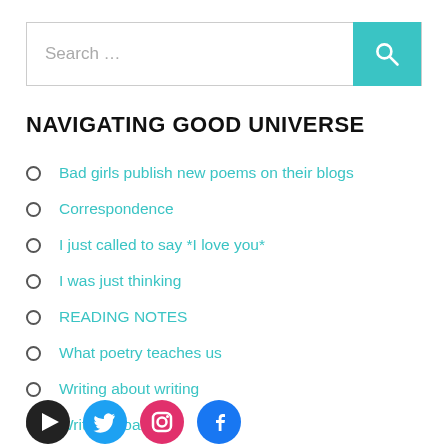[Figure (screenshot): Search bar with teal search button and magnifying glass icon]
NAVIGATING GOOD UNIVERSE
Bad girls publish new poems on their blogs
Correspondence
I just called to say *I love you*
I was just thinking
READING NOTES
What poetry teaches us
Writing about writing
Writing Goals
Writing prompts & inspiration for poems
[Figure (illustration): Social media icons row: podcast/audio (black), Twitter (blue), Instagram (pink), Facebook (blue)]